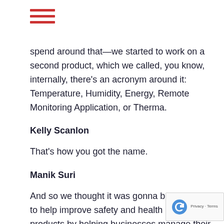[Figure (other): Hamburger menu icon with three horizontal red lines]
spend around that—we started to work on a second product, which we called, you know, internally, there's an acronym around it: Temperature, Humidity, Energy, Remote Monitoring Application, or Therma.
Kelly Scanlon
That's how you got the name.
Manik Suri
And so we thought it was gonna be a product to help improve safety and health around products by helping businesses manage their refrigerated inventory. And as we started talking to our customer base, the CoInspect customers, we discovered that there were these huge other